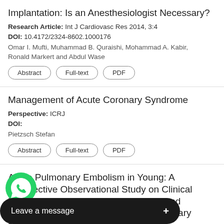Resynchronization Therapy Defibrillator(CRT-D) Implantation: Is an Anesthesiologist Necessary?
Research Article: Int J Cardiovasc Res 2014, 3:4
DOI: 10.4172/2324-8602.1000176
Omar I. Mufti, Muhammad B. Quraishi, Mohammad A. Kabir, Ronald Markert and Abdul Wase
Management of Acute Coronary Syndrome
Perspective: ICRJ
DOI:
Pietzsch Stefan
Acute Pulmonary Embolism in Young: A Prospective Observational Study on Clinical Implication of Age on the Presentation and Management of Patients with Acute Pulmonary Embolism
Rese...